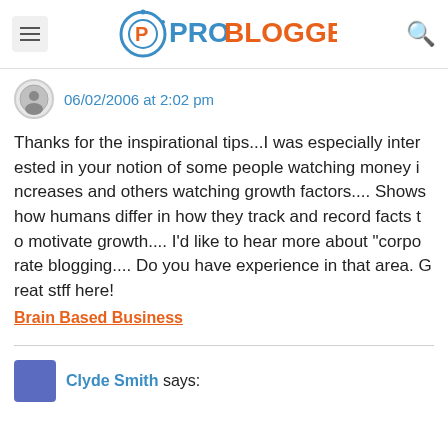PROBLOGGER
06/02/2006 at 2:02 pm
Thanks for the inspirational tips...I was especially interested in your notion of some people watching money increases and others watching growth factors.... Shows how humans differ in how they track and record facts to motivate growth.... I'd like to hear more about "corporate blogging.... Do you have experience in that area. Great stff here!
Brain Based Business
Clyde Smith says: